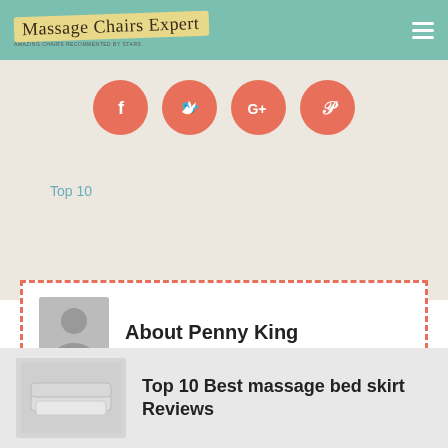Massage Chairs Expert
[Figure (infographic): Four social media share buttons (Facebook, Twitter, Google+, Pinterest) as coral-colored circles on beige background]
Top 10
About Penny King
View All Posts by Author
Top 10 Best massage bed skirt Reviews